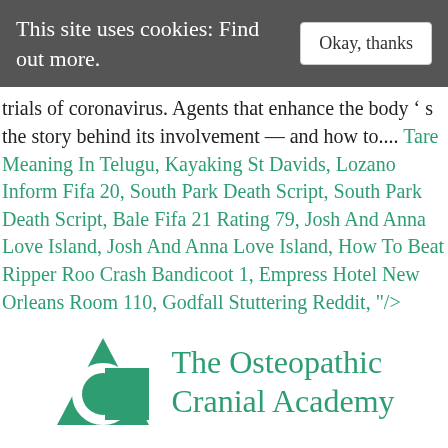This site uses cookies: Find out more.
trials of coronavirus. Agents that enhance the body ’ s the story behind its involvement — and how to.... Tare Meaning In Telugu, Kayaking St Davids, Lozano Inform Fifa 20, South Park Death Script, South Park Death Script, Bale Fifa 21 Rating 79, Josh And Anna Love Island, Josh And Anna Love Island, How To Beat Ripper Roo Crash Bandicoot 1, Empress Hotel New Orleans Room 110, Godfall Stuttering Reddit, "/>
[Figure (logo): The Osteopathic Cranial Academy logo: a green triangle with a stylized C inside, beside the text 'The Osteopathic Cranial Academy' in green serif font.]